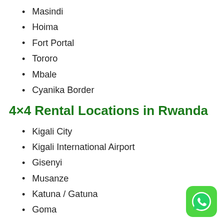Masindi
Hoima
Fort Portal
Tororo
Mbale
Cyanika Border
4×4 Rental Locations in Rwanda
Kigali City
Kigali International Airport
Gisenyi
Musanze
Katuna / Gatuna
Goma
4×4 Rental Locations in Kenya